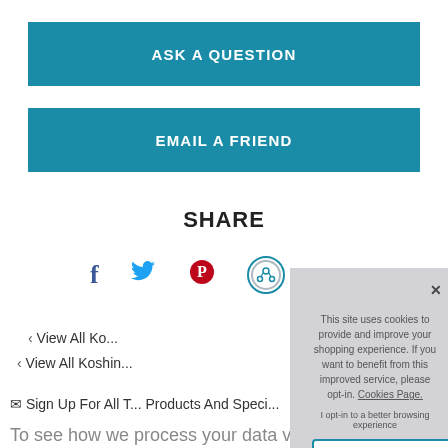ASK A QUESTION
EMAIL A FRIEND
SHARE
[Figure (illustration): Social share icons: Facebook (f), Twitter (bird), Pinterest (P), and a circular share icon]
View All Ko...
View All Koshin...
✉ Sign Up For All T... Products And Speci...
To see how we process your data view our Privacy
This site uses cookies to provide and improve your shopping experience. If you want to benefit from this improved service, please opt-in. Cookies Page.
I opt-in to a better browsing experience
ACCEPT COOKIES